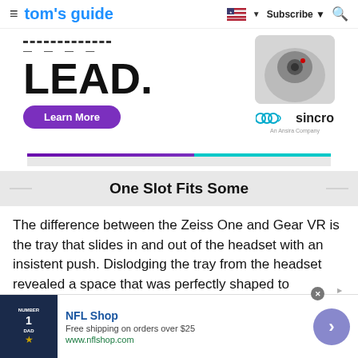tom's guide | Subscribe
[Figure (photo): Advertisement banner for Sincro with 'LEAD.' text, 'Learn More' button, and headset photo alongside Sincro logo]
One Slot Fits Some
The difference between the Zeiss One and Gear VR is the tray that slides in and out of the headset with an insistent push. Dislodging the tray from the headset revealed a space that was perfectly shaped to
[Figure (infographic): Bottom advertisement for NFL Shop. Free shipping on orders over $25. www.nflshop.com]